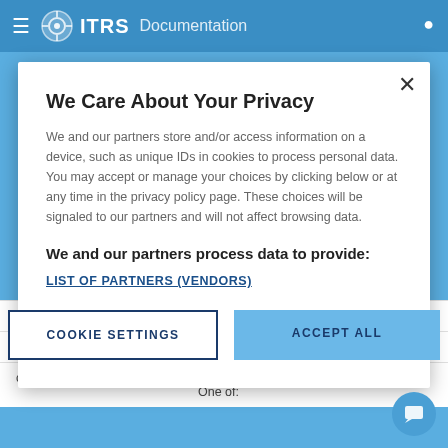ITRS Documentation
We Care About Your Privacy
We and our partners store and/or access information on a device, such as unique IDs in cookies to process personal data. You may accept or manage your choices by clicking below or at any time in the privacy policy page. These choices will be signaled to our partners and will not affect browsing data.
We and our partners process data to provide:
LIST OF PARTNERS (VENDORS)
COOKIE SETTINGS   ACCEPT ALL
|  |  |
| --- | --- |
|  | published by this probe. |
| severity | Runtime severity of this probe. |
| connectionState | Connection state of this pr…
One of: |